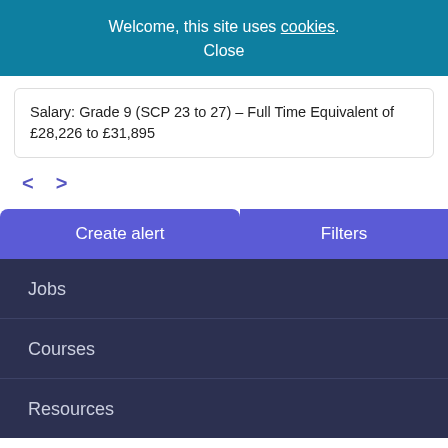Welcome, this site uses cookies. Close
Salary: Grade 9 (SCP 23 to 27) – Full Time Equivalent of £28,226 to £31,895
< >
Create alert
Filters
Jobs
Courses
Resources